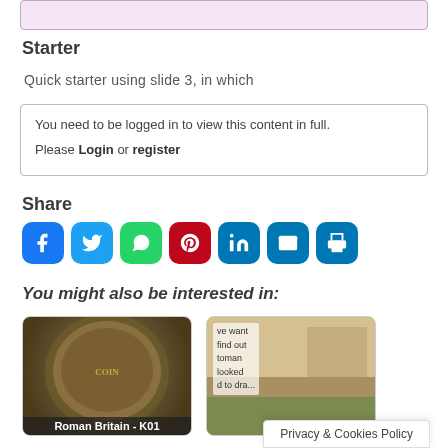[Figure (other): Pink/lavender top bar element]
Starter
Quick starter using slide 3, in which
You need to be logged in to view this content in full. Please Login or register
Share
[Figure (other): Social media sharing icons: Facebook, Twitter, WhatsApp, Pinterest, LinkedIn, Email, Print]
You might also be interested in:
[Figure (photo): Roman coin image with label Roman Britain - K01]
[Figure (photo): Landscape painting with text overlay and caption]
Privacy & Cookies Policy